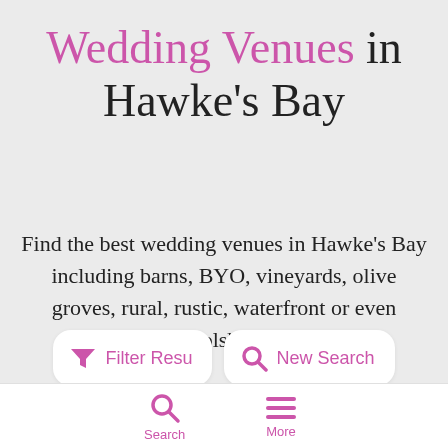Wedding Venues in Hawke's Bay
Find the best wedding venues in Hawke's Bay including barns, BYO, vineyards, olive groves, rural, rustic, waterfront or even woolsheds.
[Figure (screenshot): Two rounded white buttons: 'Filter Results' with a funnel/filter icon and 'New Search' with a magnifying glass icon, both in pink.]
[Figure (screenshot): Bottom navigation bar with pink Search icon and label, and pink hamburger menu icon with More label.]